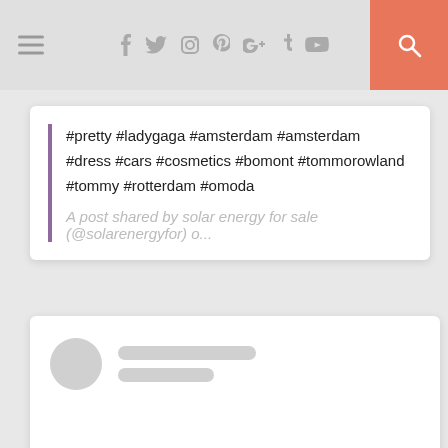Navigation bar with hamburger menu, social icons (facebook, twitter, instagram, pinterest, google+, tumblr, youtube), and search button
#pretty #ladygaga #amsterdam #amsterdam #dress #cars #cosmetics #bomont #tommorowland #tommy #rotterdam #omoda
A post shared by solar energy for sale (@solarenergyfor) o...
[Figure (other): Social media post card loading placeholder with circular avatar and two gray content lines]